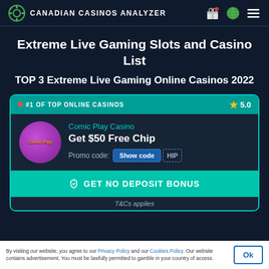CANADIAN CASINOS ANALYZER
Extreme Live Gaming Slots and Casino List
TOP 3 Extreme Live Gaming Online Casinos 2022
#1 OF TOP ONLINE CASINOS  ★ 5.0
Comic Play Casino
Get $50 Free Chip
Promo code: Show code HIP
GET NO DEPOSIT BONUS
T&Cs applies
By visiting our website, you agree to our Privacy Policy and our Cookies Policy. Our website contains advertisement. You must be lawfully permitted to gamble in your country of access.